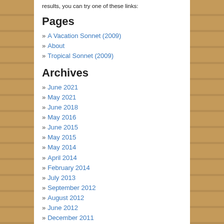results, you can try one of these links:
Pages
» A Vacation Sonnet (2009)
» About
» Tropical Sonnet (2009)
Archives
» June 2021
» May 2021
» June 2018
» May 2016
» June 2015
» May 2015
» May 2014
» April 2014
» February 2014
» July 2013
» September 2012
» August 2012
» June 2012
» December 2011
» October 2011
» September 2011
» August 2011